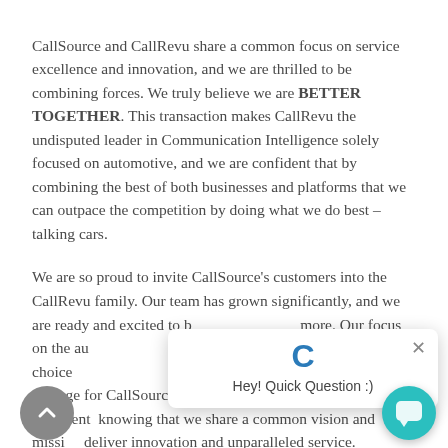CallSource and CallRevu share a common focus on service excellence and innovation, and we are thrilled to be combining forces. We truly believe we are BETTER TOGETHER. This transaction makes CallRevu the undisputed leader in Communication Intelligence solely focused on automotive, and we are confident that by combining the best of both businesses and platforms that we can outpace the competition by doing what we do best – talking cars.
We are so proud to invite CallSource's customers into the CallRevu family. Our team has grown significantly, and we are ready and excited to [obscured] more. Our focus on the au[tomotive] CallRevu an easy choice [obscured] our assurance that we will provide safe passage for CallSource's automotive business. We are confident [in] knowing that we share a common vision and missi[on to] deliver innovation and unparalleled service.
[Figure (screenshot): Chat widget popup with a blue C logo, close button (×), and text 'Hey! Quick Question :)']